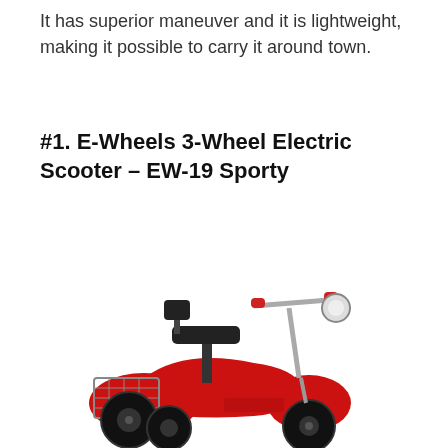It has superior maneuver and it is lightweight, making it possible to carry it around town.
#1. E-Wheels 3-Wheel Electric Scooter – EW-19 Sporty
[Figure (photo): Red E-Wheels EW-19 Sporty 3-wheel electric scooter with black seat and backrest, wire basket at rear, front headlight, handlebars, and three wheels.]